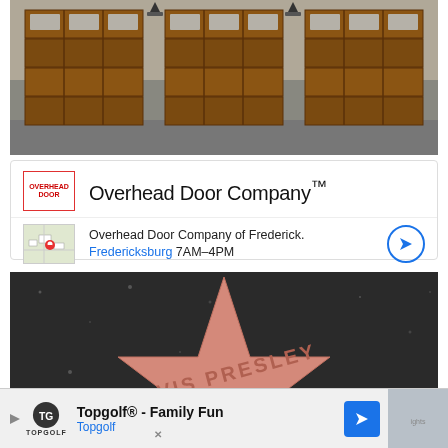[Figure (photo): Photograph of a house exterior showing three wooden garage doors with a stone facade and driveway]
[Figure (screenshot): Google search result card showing Overhead Door Company logo and business name in large text]
Overhead Door Company™
Overhead Door Company of Frederick. Fredericksburg 7AM–4PM
[Figure (photo): Close-up photograph of Elvis Presley's star on the Hollywood Walk of Fame, pink terrazzo with 'ELVIS PRESLEY' text and a record emblem]
Topgolf® - Family Fun Topgolf